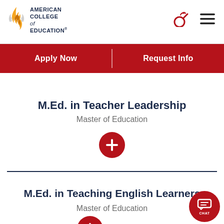American College of Education
Apply Now | Request Info
M.Ed. in Teacher Leadership
Master of Education
[Figure (other): Red circle with plus sign expand button]
M.Ed. in Teaching English Learners
Master of Education
[Figure (other): Red circle with plus sign expand button]
[Figure (other): Red circle chat button with CHAT label]